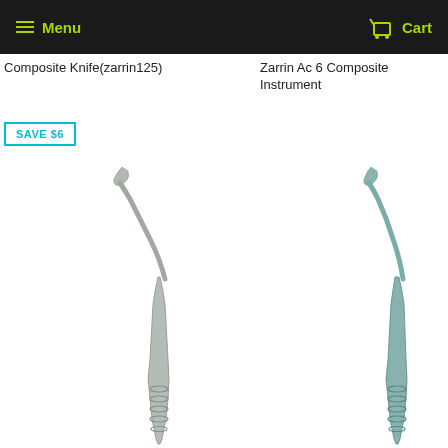Menu   Cart
Composite Knife(zarrin125)
Zarrin Ac 6 Composite Instrument
SAVE $6
[Figure (photo): A stainless steel dental composite instrument/knife with a curved angled tip, shown with the handle visible at the bottom, photographed on a white background.]
[Figure (photo): A teal/green-tinted dental composite instrument (Zarrin Ac 6) with a curved angled tip, shown with the handle visible at the bottom, photographed on a white background.]